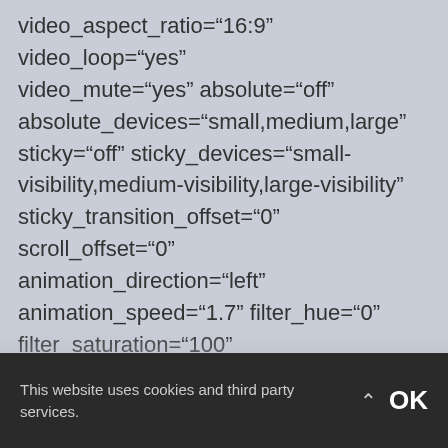video_aspect_ratio="16:9" video_loop="yes" video_mute="yes" absolute="off" absolute_devices="small,medium,large" sticky="off" sticky_devices="small-visibility,medium-visibility,large-visibility" sticky_transition_offset="0" scroll_offset="0" animation_direction="left" animation_speed="1.7" filter_hue="0" filter_saturation="100" filter_brightness="100" filter_contrast="100" filter_invert="0" filter_sepia="0"
[Figure (logo): Facebook icon circle logo, blue background with white f letter]
This website uses cookies and third party services.
OK